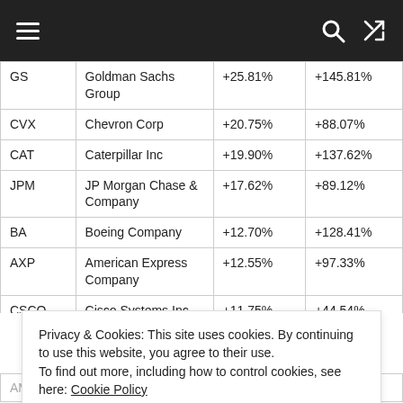Navigation bar with hamburger menu, search, and shuffle icons
| Symbol | Name | Col3 | Col4 |
| --- | --- | --- | --- |
| GS | Goldman Sachs Group | +25.81% | +145.81% |
| CVX | Chevron Corp | +20.75% | +88.07% |
| CAT | Caterpillar Inc | +19.90% | +137.62% |
| JPM | JP Morgan Chase & Company | +17.62% | +89.12% |
| BA | Boeing Company | +12.70% | +128.41% |
| AXP | American Express Company | +12.55% | +97.33% |
| CSCO | Cisco Systems Inc | +11.75% | +44.54% |
Privacy & Cookies: This site uses cookies. By continuing to use this website, you agree to their use.
To find out more, including how to control cookies, see here: Cookie Policy
Close and accept
| AMGN | Amgen Inc | +8.33% | +31.43% |